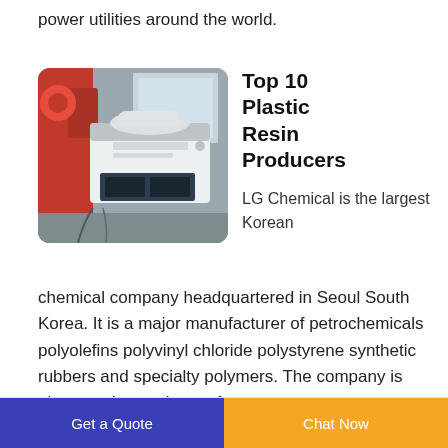power utilities around the world.
[Figure (photo): Industrial machine (white colored equipment with control panels) in a factory/warehouse setting with red machinery visible on the left side]
Top 10 Plastic Resin Producers
LG Chemical is the largest Korean chemical company headquartered in Seoul South Korea. It is a major manufacturer of petrochemicals polyolefins polyvinyl chloride polystyrene synthetic rubbers and specialty polymers. The company is also a major producer of
Get a Quote    Chat Now